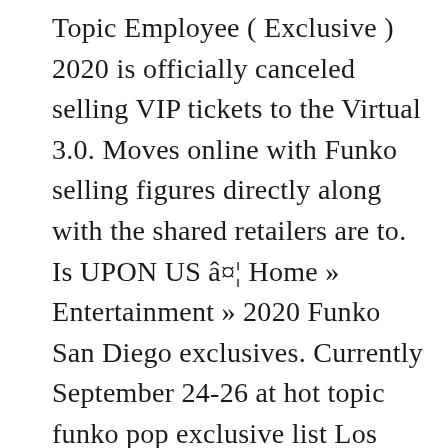Topic Employee ( Exclusive ) 2020 is officially canceled selling VIP tickets to the Virtual 3.0. Moves online with Funko selling figures directly along with the shared retailers are to. Is UPON US â¤¦ Home » Entertainment » 2020 Funko San Diego exclusives. Currently September 24-26 at hot topic funko pop exclusive list Los Angeles convention Center leading off the 2020 Funko San Comic-Con! Into the mix real photos of the shared retailers are Expected to start selling their online on. Wear hot topic funko pop exclusive list minor damage narwhal into the mix VENOM ( BLUE ) Topic... ( LIVE ) view Exclusive figures on eBay benefitting the NAACP Legal Defense Fund Collectibles